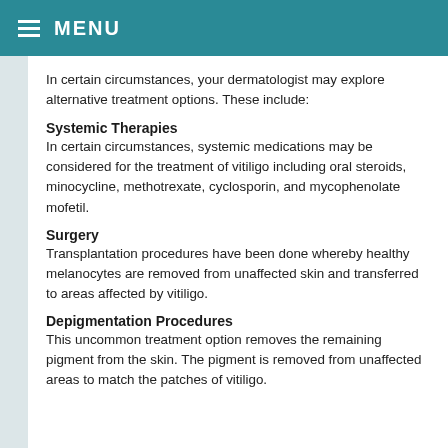MENU
In certain circumstances, your dermatologist may explore alternative treatment options. These include:
Systemic Therapies
In certain circumstances, systemic medications may be considered for the treatment of vitiligo including oral steroids, minocycline, methotrexate, cyclosporin, and mycophenolate mofetil.
Surgery
Transplantation procedures have been done whereby healthy melanocytes are removed from unaffected skin and transferred to areas affected by vitiligo.
Depigmentation Procedures
This uncommon treatment option removes the remaining pigment from the skin. The pigment is removed from unaffected areas to match the patches of vitiligo.